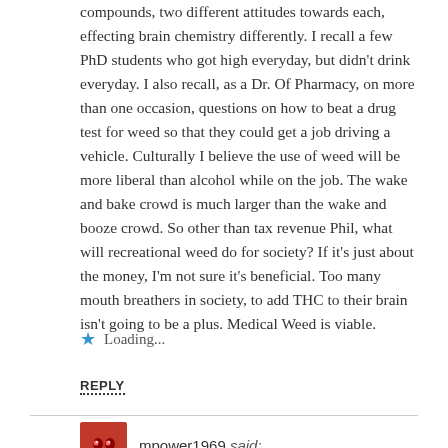compounds, two different attitudes towards each, effecting brain chemistry differently. I recall a few PhD students who got high everyday, but didn't drink everyday. I also recall, as a Dr. Of Pharmacy, on more than one occasion, questions on how to beat a drug test for weed so that they could get a job driving a vehicle. Culturally I believe the use of weed will be more liberal than alcohol while on the job. The wake and bake crowd is much larger than the wake and booze crowd. So other than tax revenue Phil, what will recreational weed do for society? If it's just about the money, I'm not sure it's beneficial. Too many mouth breathers in society, to add THC to their brain isn't going to be a plus. Medical Weed is viable.
Loading...
REPLY
mpower1969 said: